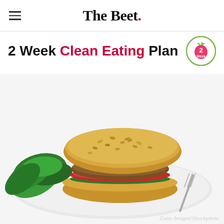The Beet.
2 Week Clean Eating Plan
[Figure (photo): A veggie burger on a seeded whole-grain bun with tomato slices and spinach leaves on a white plate, with a fork visible on the right side.]
Getty Images/iStockphoto